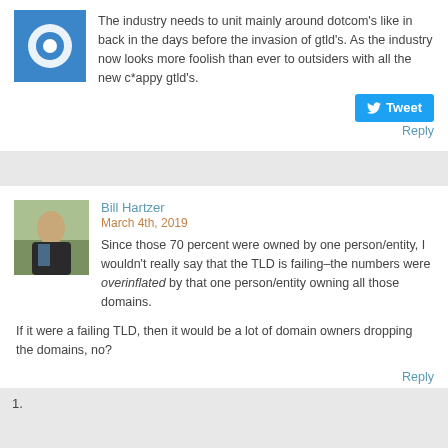The industry needs to unit mainly around dotcom's like in back in the days before the invasion of gtld's. As the industry now looks more foolish than ever to outsiders with all the new c*appy gtld's.
Tweet
Reply
Bill Hartzer
March 4th, 2019
Since those 70 percent were owned by one person/entity, I wouldn't really say that the TLD is failing–the numbers were overinflated by that one person/entity owning all those domains.
If it were a failing TLD, then it would be a lot of domain owners dropping the domains, no?
Reply
1.